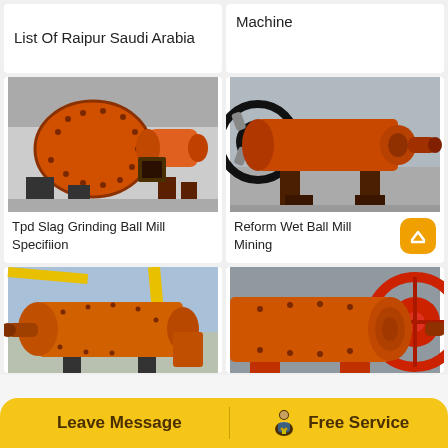List Of Raipur Saudi Arabia
Machine
[Figure (photo): Orange ball mill machine for slag grinding in industrial setting]
[Figure (photo): Orange wet ball mill machine for mining in warehouse]
Tpd Slag Grinding Ball Mill Specifiion
Reform Wet Ball Mill Mining
[Figure (photo): Orange ball mill in outdoor industrial area with yellow crane]
[Figure (photo): Orange ball mill close-up with red gear wheel]
Leave Message
Free Service